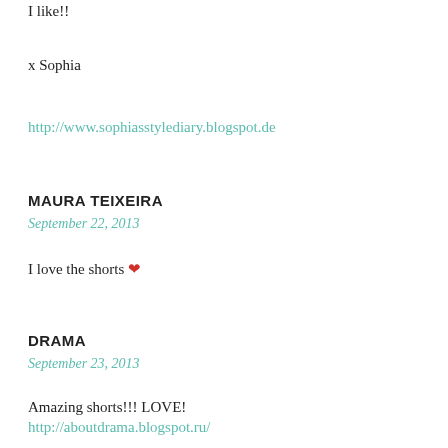I like!!
x Sophia
http://www.sophiasstylediary.blogspot.de
MAURA TEIXEIRA
September 22, 2013
I love the shorts ❤
DRAMA
September 23, 2013
Amazing shorts!!! LOVE!
http://aboutdrama.blogspot.ru/